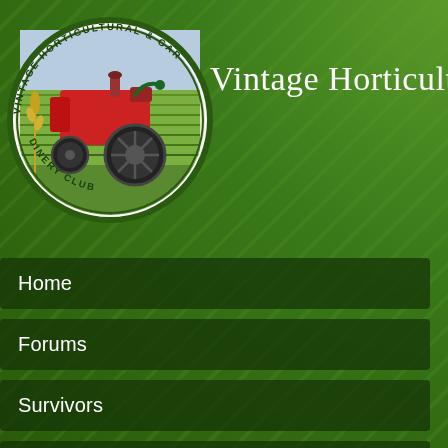[Figure (logo): Circular logo of Vintage Horticultural & Garden Machinery Club showing a red tractor/engine on agricultural field with wheat stalk, text around border]
Vintage Horticultura
Home
Forums
Survivors
Photo Galleries
Ploughing
Contact
Join the VHGMC